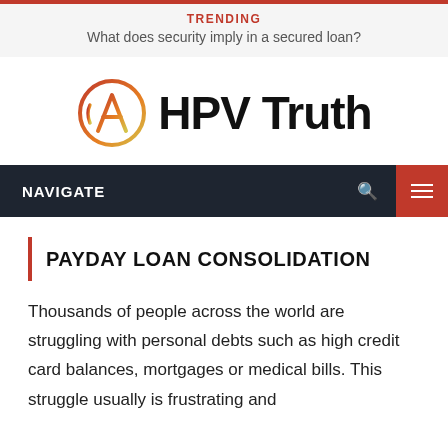TRENDING
What does security imply in a secured loan?
[Figure (logo): HPV Truth logo with circular letter A icon in red-yellow gradient and bold text 'HPV Truth']
NAVIGATE
PAYDAY LOAN CONSOLIDATION
Thousands of people across the world are struggling with personal debts such as high credit card balances, mortgages or medical bills. This struggle usually is frustrating and